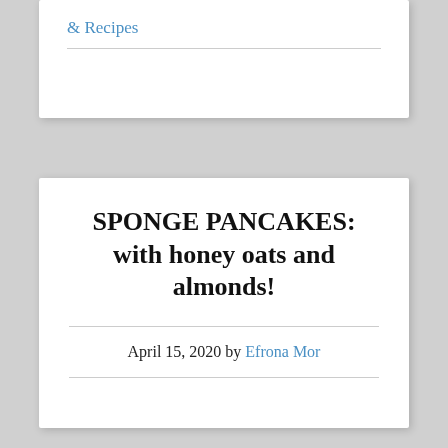& Recipes
SPONGE PANCAKES: with honey oats and almonds!
April 15, 2020 by Efrona Mor